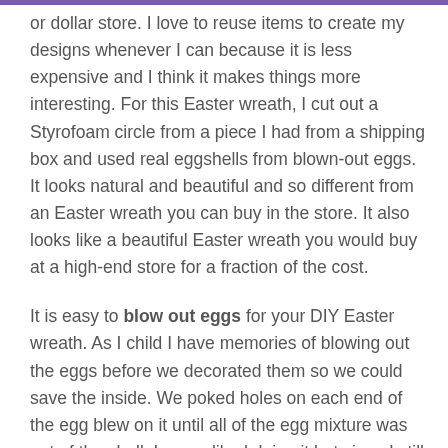or dollar store. I love to reuse items to create my designs whenever I can because it is less expensive and I think it makes things more interesting. For this Easter wreath, I cut out a Styrofoam circle from a piece I had from a shipping box and used real eggshells from blown-out eggs. It looks natural and beautiful and so different from an Easter wreath you can buy in the store. It also looks like a beautiful Easter wreath you would buy at a high-end store for a fraction of the cost.
It is easy to blow out eggs for your DIY Easter wreath. As I child I have memories of blowing out the eggs before we decorated them so we could save the inside. We poked holes on each end of the egg blew on it until all of the egg mixture was out of the shell. I never liked doing it but since I still wanted to incorporate real eggs